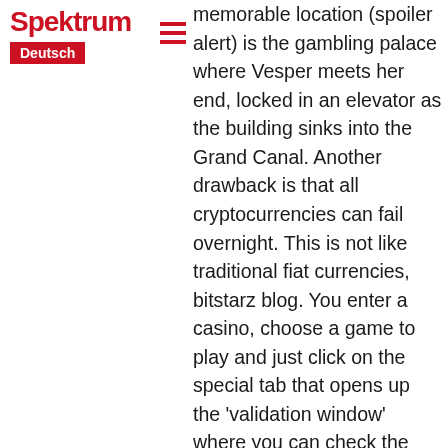Spektrum Deutsch
memorable location (spoiler alert) is the gambling palace where Vesper meets her end, locked in an elevator as the building sinks into the Grand Canal. Another drawback is that all cryptocurrencies can fail overnight. This is not like traditional fiat currencies, bitstarz blog. You enter a casino, choose a game to play and just click on the special tab that opens up the 'validation window' where you can check the hash string, bitstarz bonus senza deposito code. One more highlight of original crypto casinos is the game selection. Why choose cryptocurrency as your deposit method? Well, this is the currency of the future, bitstarz зеркало на айфон. Bitcoin gambling sites offer numerous benefits over traditional online casinos. These include the following: Convenient and Easy to Use Using BTC to load funds into your crypto casino account and withdrawing your winnings is extremely convenient, para yatirma bonusu yok for